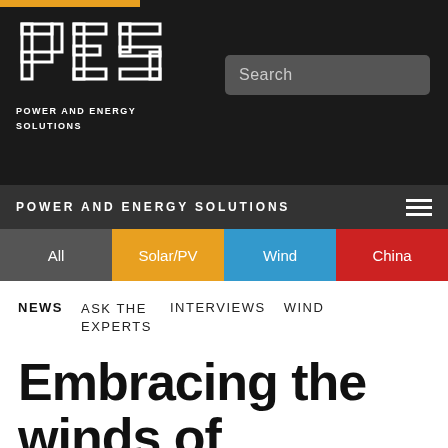PES POWER AND ENERGY SOLUTIONS
[Figure (logo): PES logo in outlined block letters on dark background]
Search
POWER AND ENERGY SOLUTIONS
All | Solar/PV | Wind | China
NEWS   ASK THE EXPERTS   INTERVIEWS   WIND
Embracing the winds of